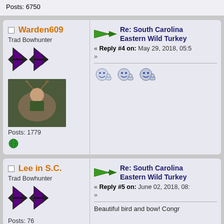Posts: 6750
Warden609
Trad Bowhunter
Posts: 1779
Re: South Carolina Eastern Wild Turkey
« Reply #4 on: May 29, 2018, 05:5
»
[Figure (illustration): Three smiley face reaction icons with thumbs up]
Lee in S.C.
Trad Bowhunter
Posts: 76
Re: South Carolina Eastern Wild Turkey
« Reply #5 on: June 02, 2018, 08:
»
Beautiful bird and bow! Congr